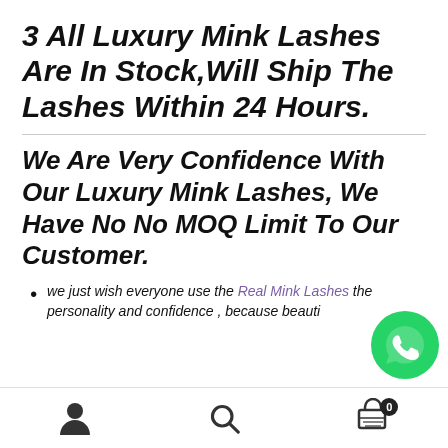3 All Luxury Mink Lashes Are In Stock,Will Ship The Lashes Within 24 Hours.
We Are Very Confidence With Our Luxury Mink Lashes, We Have No No MOQ Limit To Our Customer.
we just wish everyone use the Real Mink Lashes the personality and confidence , because beauti...
[Figure (other): WhatsApp contact button - green circle with phone handset icon]